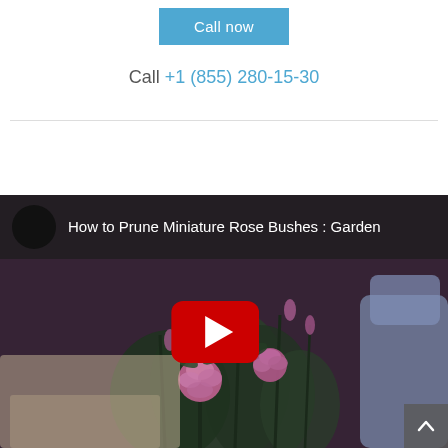Call now
Call +1 (855) 280-15-30
[Figure (screenshot): YouTube video thumbnail showing miniature rose bushes being pruned, with title 'How to Prune Miniature Rose Bushes : Garden' and a red YouTube play button in the center. A scroll-to-top arrow button is visible in the bottom right corner.]